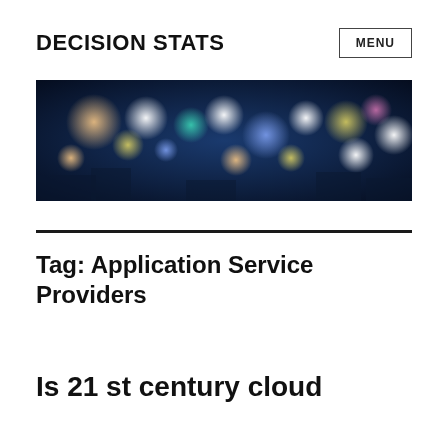DECISION STATS
[Figure (photo): Blurred city night skyline with colorful bokeh lights — blue, orange, and white light orbs against dark blue sky]
Tag: Application Service Providers
Is 21 st century cloud